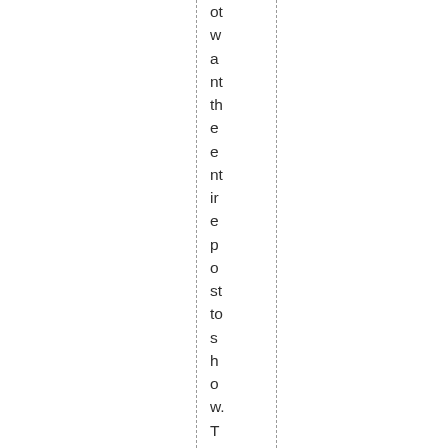ot want the entire post to show. This is where he havin